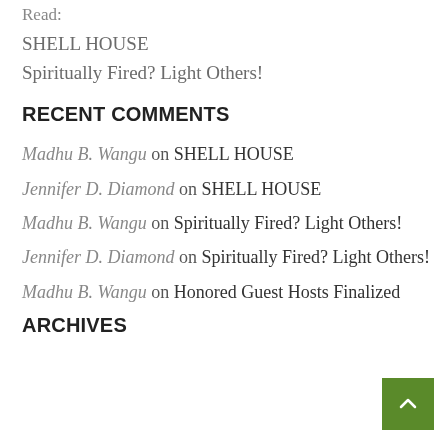Read:
SHELL HOUSE
Spiritually Fired? Light Others!
RECENT COMMENTS
Madhu B. Wangu on SHELL HOUSE
Jennifer D. Diamond on SHELL HOUSE
Madhu B. Wangu on Spiritually Fired? Light Others!
Jennifer D. Diamond on Spiritually Fired? Light Others!
Madhu B. Wangu on Honored Guest Hosts Finalized
ARCHIVES